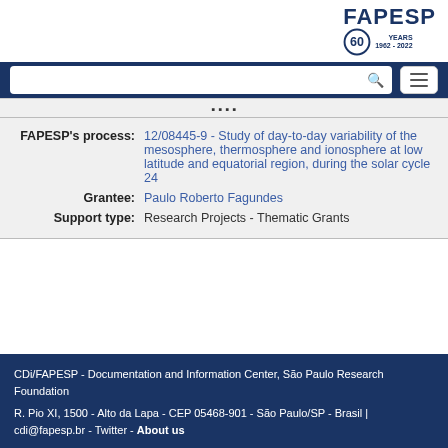[Figure (logo): FAPESP 60 Years 1962-2022 logo in dark blue]
| FAPESP's process: | 12/08445-9 - Study of day-to-day variability of the mesosphere, thermosphere and ionosphere at low latitude and equatorial region, during the solar cycle 24 |
| Grantee: | Paulo Roberto Fagundes |
| Support type: | Research Projects - Thematic Grants |
CDi/FAPESP - Documentation and Information Center, São Paulo Research Foundation
R. Pio XI, 1500 - Alto da Lapa - CEP 05468-901 - São Paulo/SP - Brasil | cdi@fapesp.br - Twitter - About us